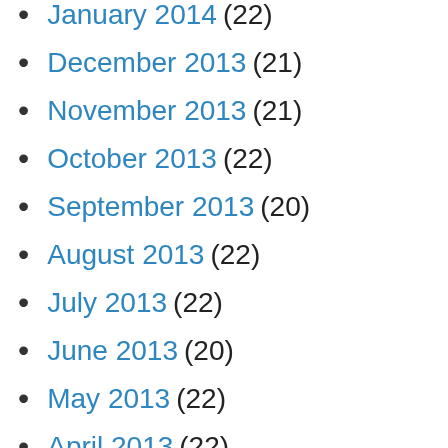January 2014 (22)
December 2013 (21)
November 2013 (21)
October 2013 (22)
September 2013 (20)
August 2013 (22)
July 2013 (22)
June 2013 (20)
May 2013 (22)
April 2013 (22)
March 2013 (23)
February 2013 (19)
January 2013 (22)
December 2012 (20)
November 2012 (22)
October 2012 (22)
September 2012 (20)